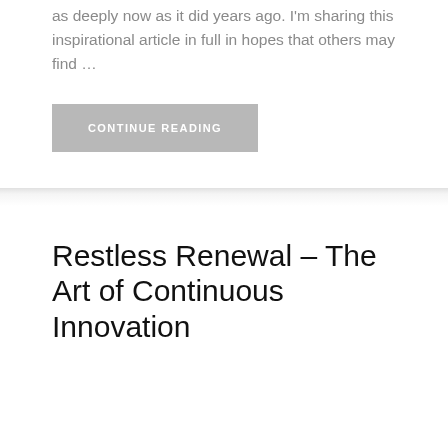as deeply now as it did years ago. I'm sharing this inspirational article in full in hopes that others may find …
CONTINUE READING
Restless Renewal – The Art of Continuous Innovation